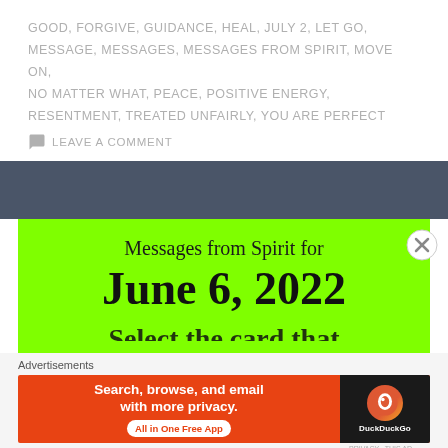GOOD, FORGIVE, GUIDANCE, HEAL, JULY 2, LET GO, MESSAGE, MESSAGES, MESSAGES FROM SPIRIT, MOVE ON, NO MATTER WHAT, PEACE, POSITIVE ENERGY, RESENTMENT, TREATED UNFAIRLY, YOU ARE PERFECT
LEAVE A COMMENT
[Figure (illustration): Dark slate-blue horizontal bar divider]
[Figure (illustration): Bright green card with script text 'Messages from Spirit for' and large serif bold text 'June 6, 2022']
Advertisements
[Figure (illustration): DuckDuckGo advertisement banner: 'Search, browse, and email with more privacy. All in One Free App' with DuckDuckGo logo on dark background]